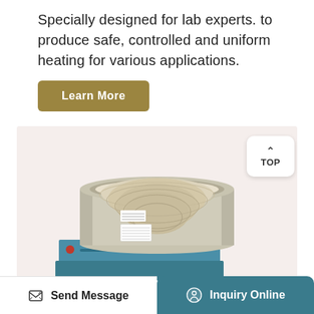Specially designed for lab experts. to produce safe, controlled and uniform heating for various applications.
Learn More
[Figure (photo): Laboratory heating mantle device - a cylindrical beige/cream colored heating mantle with woven fiber interior, sitting on a blue control unit base. Product photo on light pink/beige background. A 'TOP' button is visible in the upper right corner of the image.]
Send Message   Inquiry Online